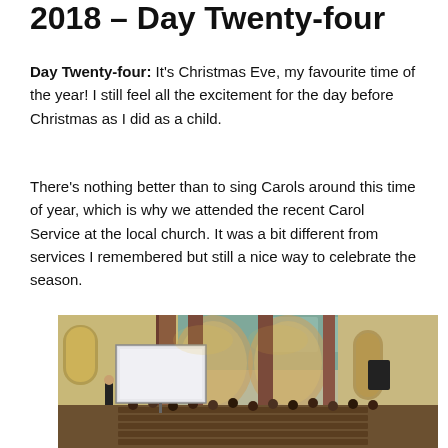2018 – Day Twenty-four
Day Twenty-four: It's Christmas Eve, my favourite time of the year! I still feel all the excitement for the day before Christmas as I did as a child.
There's nothing better than to sing Carols around this time of year, which is why we attended the recent Carol Service at the local church. It was a bit different from services I remembered but still a nice way to celebrate the season.
[Figure (photo): Interior of a historic church with grand arched columns and teal ceiling, people seated in pews attending a carol service, a presenter standing at the front near a projected screen.]